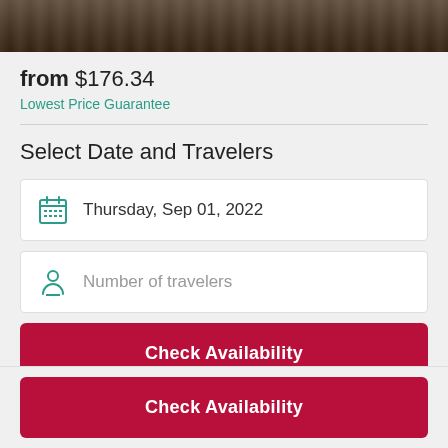[Figure (photo): Hero image of a historical or architectural site, darkened overlay]
from $176.34
Lowest Price Guarantee
Select Date and Travelers
Thursday, Sep 01, 2022
Number of travelers
Check Availability
Check Availability